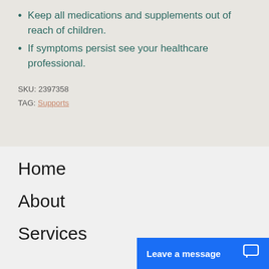Keep all medications and supplements out of reach of children.
If symptoms persist see your healthcare professional.
SKU: 2397358
TAG: Supports
Home
About
Services
Leave a message